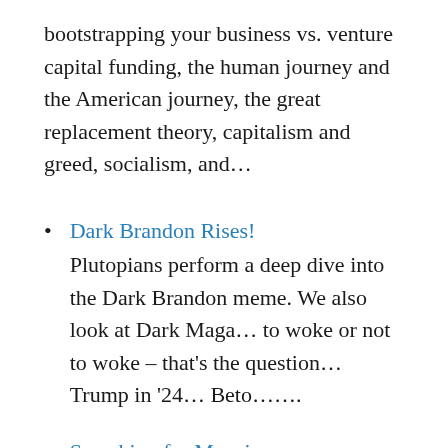bootstrapping your business vs. venture capital funding, the human journey and the American journey, the great replacement theory, capitalism and greed, socialism, and…
Dark Brandon Rises!
Plutopians perform a deep dive into the Dark Brandon meme. We also look at Dark Maga… to woke or not to woke – that's the question… Trump in '24… Beto…….
Searching for Meaning
Plutopians explore the search for meaning in our lives, especially in an era of pandemic and polarization. Jon, Susan and Suzy…